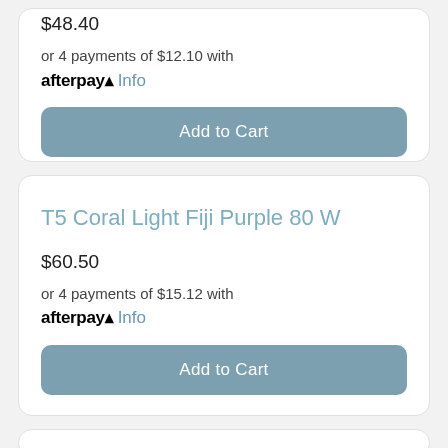$48.40
or 4 payments of $12.10 with afterpay Info
Add to Cart
T5 Coral Light Fiji Purple 80 W
$60.50
or 4 payments of $15.12 with afterpay Info
Add to Cart